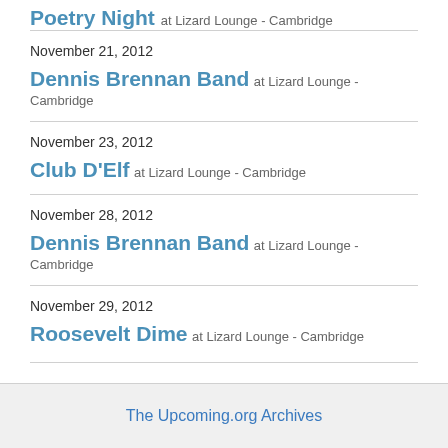Poetry Night at Lizard Lounge - Cambridge
November 21, 2012
Dennis Brennan Band at Lizard Lounge - Cambridge
November 23, 2012
Club D'Elf at Lizard Lounge - Cambridge
November 28, 2012
Dennis Brennan Band at Lizard Lounge - Cambridge
November 29, 2012
Roosevelt Dime at Lizard Lounge - Cambridge
The Upcoming.org Archives